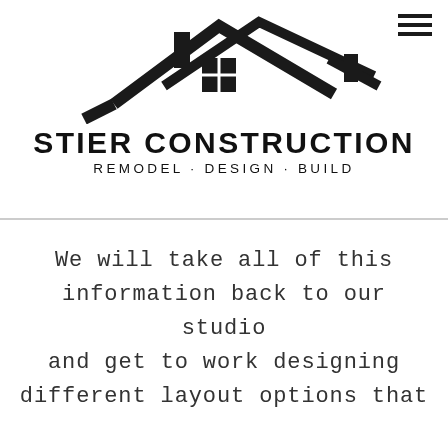[Figure (logo): Stier Construction logo: two overlapping house silhouettes in black with a window grid, company name STIER CONSTRUCTION in bold sans-serif, tagline REMODEL·DESIGN·BUILD below]
We will take all of this information back to our studio and get to work designing different layout options that